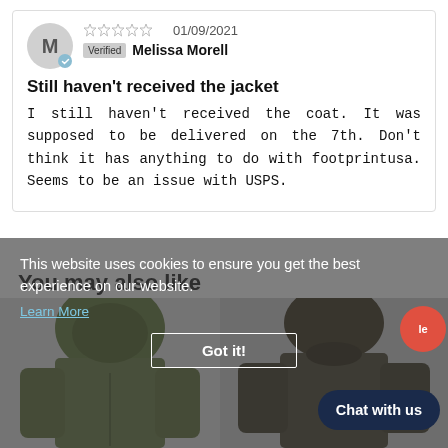★★★★★ 01/09/2021 Verified Melissa Morell
Still haven't received the jacket
I still haven't received the coat. It was supposed to be delivered on the 7th. Don't think it has anything to do with footprintusa. Seems to be an issue with USPS.
This website uses cookies to ensure you get the best experience on our website.
Learn More
You may also like
Got it!
Chat with us
le
[Figure (photo): Two jackets displayed side by side: left is an olive/green hooded jacket, right is a dark brown/olive quilted jacket. Partially obscured by cookie overlay and chat button.]